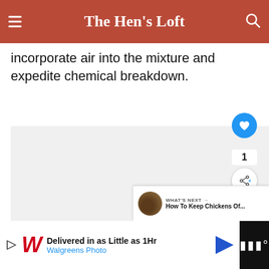The Hen's Loft
incorporate air into the mixture and expedite chemical breakdown.
[Figure (photo): Large image placeholder with a light gray background; a liked/share widget is overlaid on the right side showing a blue heart icon, number 1, and a share icon. A 'WHAT'S NEXT' panel shows a thumbnail of a chicken and text 'How To Keep Chickens Of...']
Delivered in as Little as 1Hr Walgreens Photo